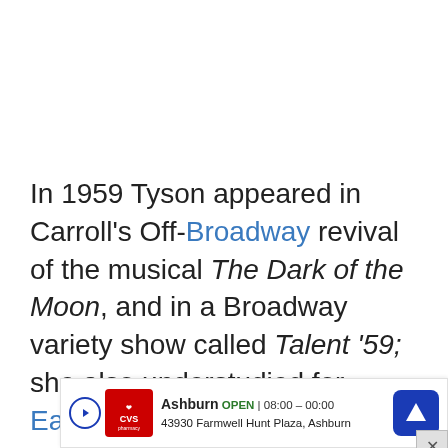In 1959 Tyson appeared in Carroll's Off-Broadway revival of the musical The Dark of the Moon, and in a Broadway variety show called Talent '59; she also understudied for Eartha Kitt in the role of Jolly Rivers in Jolly's Progress. Tyson landed a small part in the … a …
[Figure (other): Gray circular back-to-top button with upward chevron arrow]
[Figure (other): CVS Pharmacy advertisement banner showing Ashburn location, OPEN 08:00-00:00, address 43930 Farmwell Hunt Plaza, Ashburn, with navigation arrow icon]